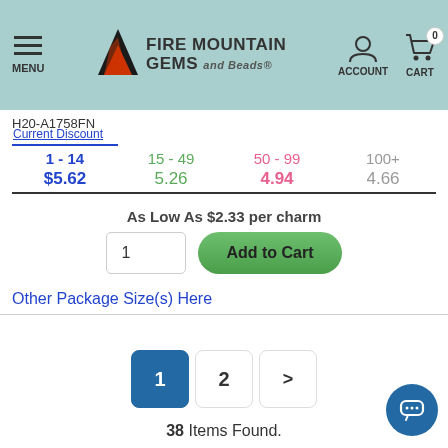MENU | FIRE MOUNTAIN GEMS and Beads | ACCOUNT | CART 0
H20-A1758FN
| Current Discount | 15 - 49 | 50 - 99 | 100+ |
| --- | --- | --- | --- |
| 1 - 14 | 15 - 49 | 50 - 99 | 100+ |
| $5.62 | 5.26 | 4.94 | 4.66 |
As Low As $2.33 per charm
Other Package Size(s) Here
1  2  >
38 Items Found.
Jump to Page  2  Go